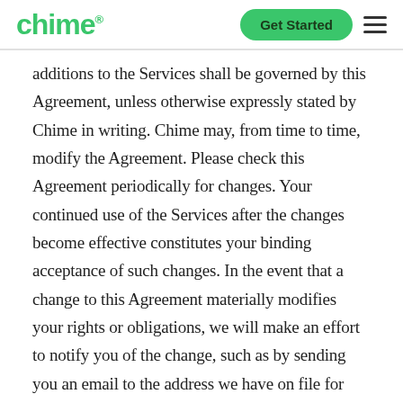chime® | Get Started
additions to the Services shall be governed by this Agreement, unless otherwise expressly stated by Chime in writing. Chime may, from time to time, modify the Agreement. Please check this Agreement periodically for changes. Your continued use of the Services after the changes become effective constitutes your binding acceptance of such changes. In the event that a change to this Agreement materially modifies your rights or obligations, we will make an effort to notify you of the change, such as by sending you an email to the address we have on file for you, or presenting a pop-up window or other